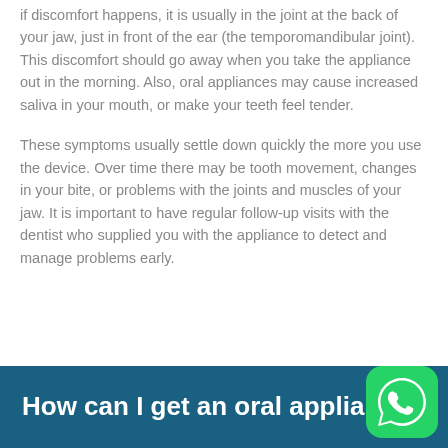if discomfort happens, it is usually in the joint at the back of your jaw, just in front of the ear (the temporomandibular joint). This discomfort should go away when you take the appliance out in the morning. Also, oral appliances may cause increased saliva in your mouth, or make your teeth feel tender.
These symptoms usually settle down quickly the more you use the device. Over time there may be tooth movement, changes in your bite, or problems with the joints and muscles of your jaw. It is important to have regular follow-up visits with the dentist who supplied you with the appliance to detect and manage problems early.
How can I get an oral appliance?